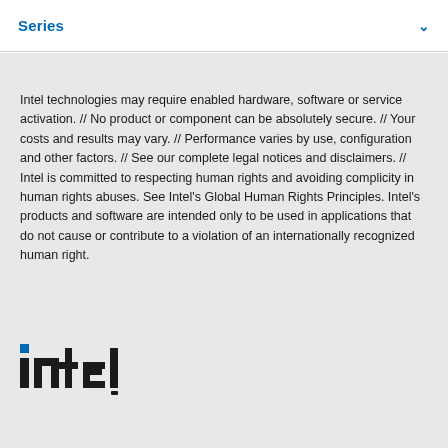Series
Intel technologies may require enabled hardware, software or service activation. // No product or component can be absolutely secure. // Your costs and results may vary. // Performance varies by use, configuration and other factors. // See our complete legal notices and disclaimers. // Intel is committed to respecting human rights and avoiding complicity in human rights abuses. See Intel's Global Human Rights Principles. Intel's products and software are intended only to be used in applications that do not cause or contribute to a violation of an internationally recognized human right.
[Figure (logo): Intel logo in black text with blue square dot above the 'i']